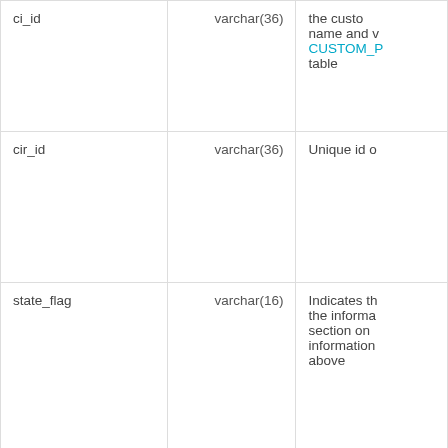| Column | Type | Description |
| --- | --- | --- |
| ci_id | varchar(36) | the custom name and v CUSTOM_P table |
| cir_id | varchar(36) | Unique id o |
| state_flag | varchar(16) | Indicates th the informa section on information above |
|  |  | Timestamp the ex na whenever |